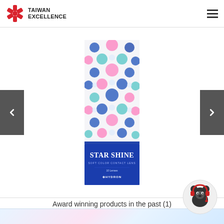TAIWAN EXCELLENCE
[Figure (photo): Star Shine soft color contact lens product box with colorful geometric pattern in pink and blue, displayed vertically. Box shows brand name 'STAR SHINE' in blue and white text at bottom.]
Award winning products in the past (1)
[Figure (illustration): Decorative pastel colored strip at bottom of page with floral/geometric pattern in light blue and pink]